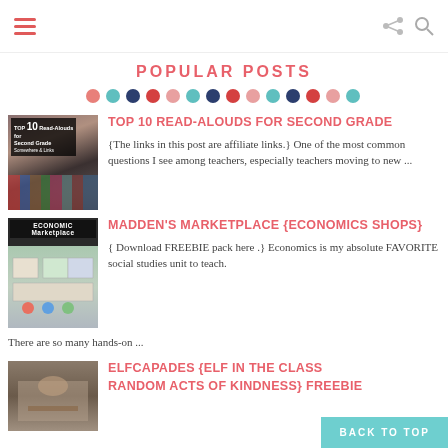Navigation header with hamburger menu and share/search icons
POPULAR POSTS
[Figure (illustration): Row of colored decorative dots in salmon, teal, navy, red, pink, teal, navy, red, pink, teal, navy, red, pink, teal]
[Figure (photo): Thumbnail image: Top 10 Read-Alouds for Second Grade book spines]
TOP 10 READ-ALOUDS FOR SECOND GRADE
{The links in this post are affiliate links.} One of the most common questions I see among teachers, especially teachers moving to new ...
[Figure (photo): Thumbnail image: Madden's Marketplace economics shops classroom setup]
MADDEN'S MARKETPLACE {ECONOMICS SHOPS}
{ Download FREEBIE pack here .} Economics is my absolute FAVORITE social studies unit to teach. There are so many hands-on ...
[Figure (photo): Thumbnail image: Elfcapades elf in the classroom]
ELFCAPADES {ELF IN THE CLASSROOM RANDOM ACTS OF KINDNESS} FREEBIE
BACK TO TOP